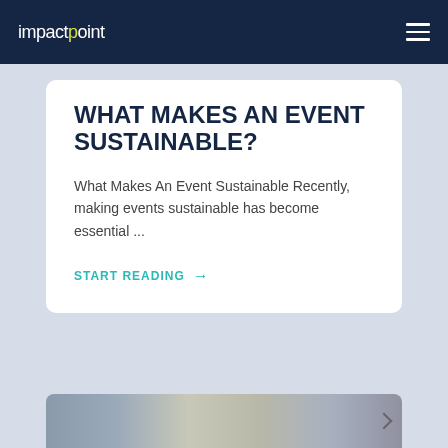impactpoint
WHAT MAKES AN EVENT SUSTAINABLE?
What Makes An Event Sustainable Recently, making events sustainable has become essential ...
START READING →
[Figure (photo): Bottom strip showing a partial photograph of what appears to be an interior building or hallway scene]